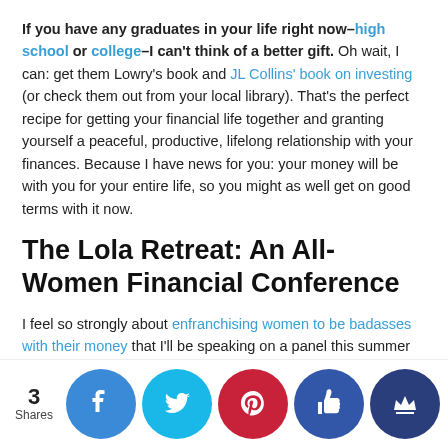If you have any graduates in your life right now–high school or college–I can't think of a better gift. Oh wait, I can: get them Lowry's book and JL Collins' book on investing (or check them out from your local library). That's the perfect recipe for getting your financial life together and granting yourself a peaceful, productive, lifelong relationship with your finances. Because I have news for you: your money will be with you for your entire life, so you might as well get on good terms with it now.
The Lola Retreat: An All-Women Financial Conference
I feel so strongly about enfranchising women to be badasses with their money that I'll be speaking on a panel this summer at a new financial conference designed specifically for women. I'm sharing this with you because it's not a conference just for bloggers, it's a conference for any woman who wants to expand, deepen, her way to personal financial awesomeness.